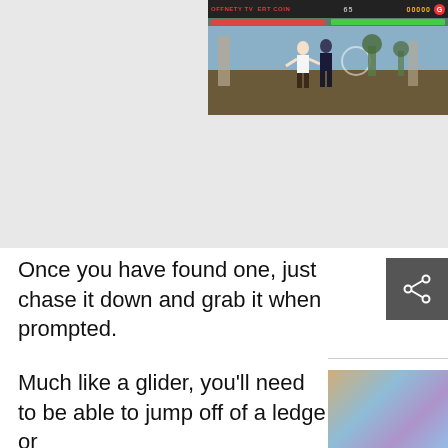[Figure (screenshot): A fighting video game screenshot showing two characters fighting in an outdoor Asian temple setting with HUD elements including health bars, timer, and score display showing 00000]
Once you have found one, just chase it down and grab it when prompted.
[Figure (photo): A blurred colorful image in the bottom right corner, part of a sidebar element]
Much like a glider, you'll need to be able to jump off of a ledge or